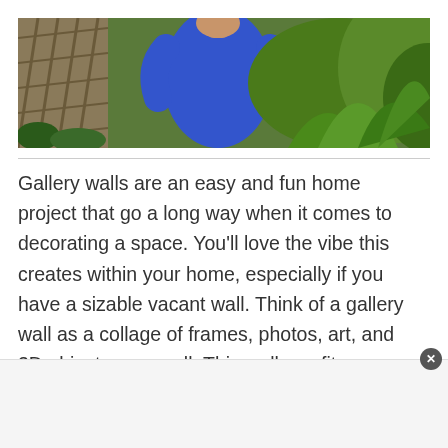[Figure (photo): Cropped banner photo showing a person wearing a blue long-sleeve dress in front of green foliage and a lattice/trellis structure on the left.]
Gallery walls are an easy and fun home project that go a long way when it comes to decorating a space. You’ll love the vibe this creates within your home, especially if you have a sizable vacant wall. Think of a gallery wall as a collage of frames, photos, art, and 3D objects on a wall. This wall can fit your individual style, incorporating a range of